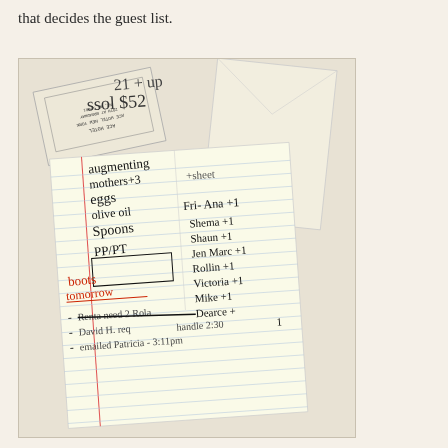that decides the guest list.
[Figure (photo): Photograph of handwritten notes on a lined notepad and hotel key card envelopes. The notepad shows a handwritten list including items like 'augmenting', 'mothers+3', 'eggs', 'olive oil', 'Spoons', 'PP/PT', 'boots tomorrow', and a guest list including 'Fri- Ana+1', 'Shema+1', 'Shaun+1', 'Jen Marc+1', 'Rollin+1', 'Victoria+1', 'Mike+1', 'Dearce+'. Also visible: 'Renta need 2 Rola', '-David H. req handle 2:30', '- emailed Patricia - 3:11pm'. An Ace Hotel New York card is visible in the upper left.]